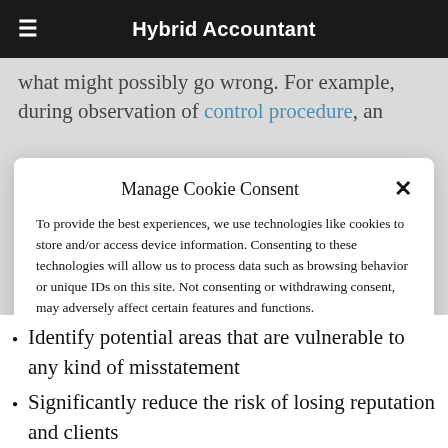Hybrid Accountant
what might possibly go wrong. For example, during observation of control procedure, an
Manage Cookie Consent
To provide the best experiences, we use technologies like cookies to store and/or access device information. Consenting to these technologies will allow us to process data such as browsing behavior or unique IDs on this site. Not consenting or withdrawing consent, may adversely affect certain features and functions.
ACCEPT
Cookie Policy  YOUR PRIVACY
Identify potential areas that are vulnerable to any kind of misstatement
Significantly reduce the risk of losing reputation and clients